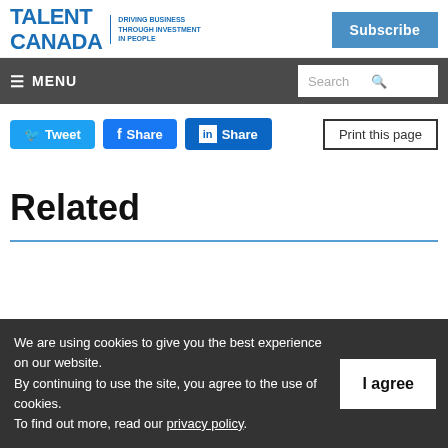TALENT CANADA — DRIVING BUSINESS THROUGH INVESTMENT IN PEOPLE
Subscribe
≡ MENU | Search
Tweet | Share | Share | Print this page
Related
We are using cookies to give you the best experience on our website. By continuing to use the site, you agree to the use of cookies. To find out more, read our privacy policy.
I agree